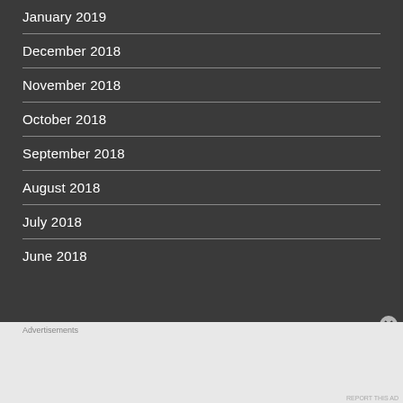January 2019
December 2018
November 2018
October 2018
September 2018
August 2018
July 2018
June 2018
[Figure (screenshot): DuckDuckGo advertisement banner: 'Search, browse, and email with more privacy. All in One Free App' with DuckDuckGo logo on dark background]
REPORT THIS AD